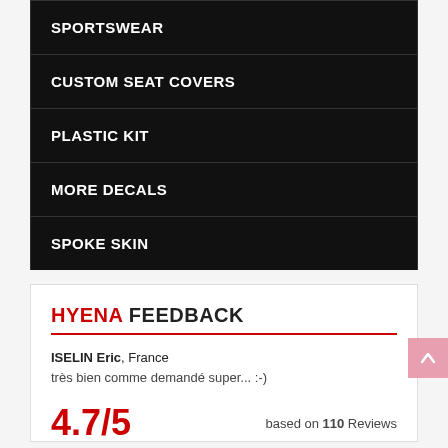SPORTSWEAR
CUSTOM SEAT COVERS
PLASTIC KIT
MORE DECALS
SPOKE SKIN
HYENA FEEDBACK
ISELIN Eric, France
très bien comme demandé super... :-)
4.7/5   based on 110 Reviews